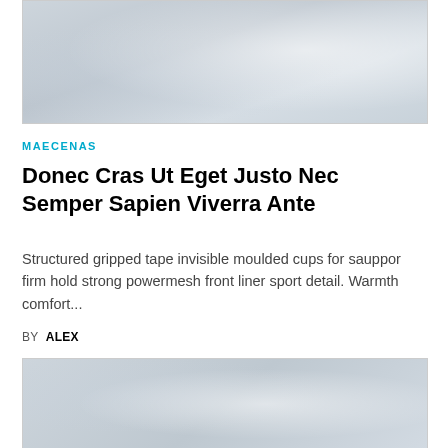[Figure (photo): Abstract light grey/white fabric or paper texture photo]
MAECENAS
Donec Cras Ut Eget Justo Nec Semper Sapien Viverra Ante
Structured gripped tape invisible moulded cups for sauppor firm hold strong powermesh front liner sport detail. Warmth comfort...
BY ALEX
[Figure (photo): Abstract light grey/white fabric or paper texture photo (bottom, partial)]